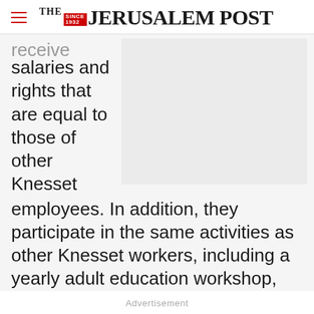THE JERUSALEM POST
receive salaries and rights that are equal to those of other Knesset employees. In addition, they participate in the same activities as other Knesset workers, including a yearly adult education workshop,
[Figure (other): Advertisement placeholder box, light gray background]
Advertisement